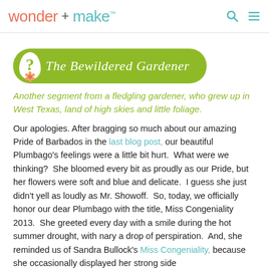wonder + make™
[Figure (logo): The Bewildered Gardener logo banner — olive green pill-shaped banner with a white question mark bubble on left, flower icon at bottom, and italic serif white text reading 'The Bewildered Gardener']
Another segment from a fledgling gardener, who grew up in West Texas, land of high skies and little foliage.
Our apologies. After bragging so much about our amazing Pride of Barbados in the last blog post, our beautiful Plumbago's feelings were a little bit hurt.  What were we thinking?  She bloomed every bit as proudly as our Pride, but her flowers were soft and blue and delicate.  I guess she just didn't yell as loudly as Mr. Showoff.  So, today, we officially honor our dear Plumbago with the title, Miss Congeniality 2013.  She greeted every day with a smile during the hot summer drought, with nary a drop of perspiration.  And, she reminded us of Sandra Bullock's Miss Congeniality, because she occasionally displayed her strong side